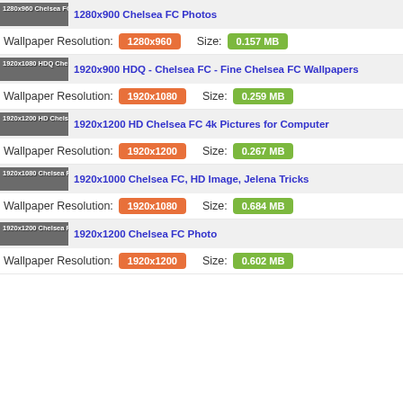[Figure (screenshot): Thumbnail of 1280x960 Chelsea FC wallpaper with gray overlay and white text label]
1280x900 Chelsea FC Photos
Wallpaper Resolution: 1280x960   Size: 0.157 MB
[Figure (screenshot): Thumbnail of 1920x1080 HDQ Chelsea FC wallpaper with gray overlay]
1920x900 HDQ - Chelsea FC - Fine Chelsea FC Wallpapers
Wallpaper Resolution: 1920x1080   Size: 0.259 MB
[Figure (screenshot): Thumbnail of 1920x1200 HD Chelsea FC wallpaper with gray overlay]
1920x1200 HD Chelsea FC 4k Pictures for Computer
Wallpaper Resolution: 1920x1200   Size: 0.267 MB
[Figure (screenshot): Thumbnail of 1920x1080 Chelsea FC HD image Jelena Tricks with gray overlay]
1920x1000 Chelsea FC, HD Image, Jelena Tricks
Wallpaper Resolution: 1920x1080   Size: 0.684 MB
[Figure (screenshot): Thumbnail of 1920x1200 Chelsea FC photo with gray overlay]
1920x1200 Chelsea FC Photo
Wallpaper Resolution: 1920x1200   Size: 0.602 MB